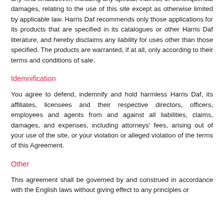any kind whatsoever, including any special, indirect, or consequential damages, relating to the use of this site except as otherwise limited by applicable law. Harris Daf recommends only those applications for its products that are specified in its catalogues or other Harris Daf literature, and hereby disclaims any liability for uses other than those specified. The products are warranted, if at all, only according to their terms and conditions of sale.
Idemnification
You agree to defend, indemnify and hold harmless Harris Daf, its affiliates, licensees and their respective directors, officers, employees and agents from and against all liabilities, claims, damages, and expenses, including attorneys' fees, arising out of your use of the site, or your violation or alleged violation of the terms of this Agreement.
Other
This agreement shall be governed by and construed in accordance with the English laws without giving effect to any principles or